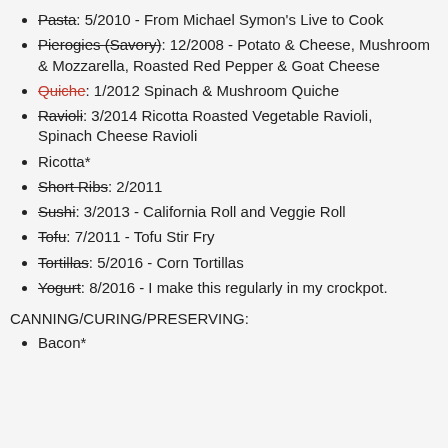Pasta: 5/2010 - From Michael Symon's Live to Cook
Pierogies (Savory): 12/2008 - Potato & Cheese, Mushroom & Mozzarella, Roasted Red Pepper & Goat Cheese
Quiche: 1/2012 Spinach & Mushroom Quiche
Ravioli: 3/2014 Ricotta Roasted Vegetable Ravioli, Spinach Cheese Ravioli
Ricotta*
Short Ribs: 2/2011
Sushi: 3/2013 - California Roll and Veggie Roll
Tofu: 7/2011 - Tofu Stir Fry
Tortillas: 5/2016 - Corn Tortillas
Yogurt: 8/2016 - I make this regularly in my crockpot.
CANNING/CURING/PRESERVING:
Bacon*